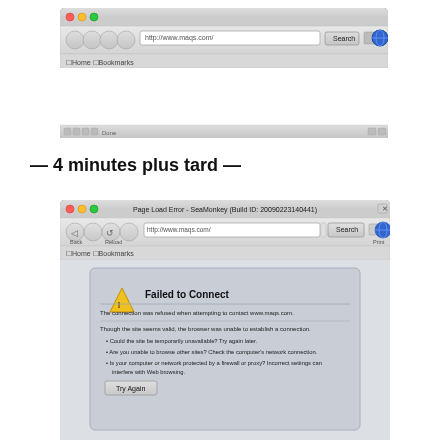[Figure (screenshot): Top browser window showing an empty/white page in SeaMonkey browser with toolbar, URL bar, and status bar. The browser appears to have loaded a blank page.]
— 4 minutes plus tard —
[Figure (screenshot): SeaMonkey browser showing a 'Page Load Error - Failed to Connect' page. The title bar reads 'Page Load Error - SeaMonkey (Build ID: 20090223140441)'. The URL bar shows 'http://www.maqs.com/'. An error dialog box shows: 'Failed to Connect. The connection was refused when attempting to contact www.maqs.com. Though the site seems valid, the browser was unable to establish a connection. * Could the site be temporarily unavailable? Try again later. * Are you unable to browse other sites? Check the computer's network connection. * Is your computer or network protected by a firewall or proxy? Incorrect settings can interfere with Web browsing.' A 'Try Again' button is shown.]